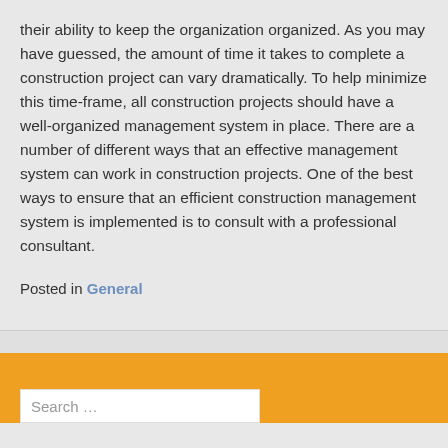their ability to keep the organization organized. As you may have guessed, the amount of time it takes to complete a construction project can vary dramatically. To help minimize this time-frame, all construction projects should have a well-organized management system in place. There are a number of different ways that an effective management system can work in construction projects. One of the best ways to ensure that an efficient construction management system is implemented is to consult with a professional consultant.
Posted in General